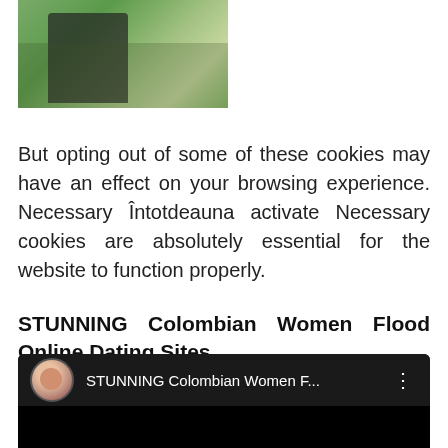[Figure (photo): Partial photo of a person outdoors on green grass/garden background, cropped at top]
But opting out of some of these cookies may have an effect on your browsing experience. Necessary Întotdeauna activate Necessary cookies are absolutely essential for the website to function properly.
STUNNING Colombian Women Flood Online Dating Sites
[Figure (screenshot): YouTube-style embedded video player with dark background, showing avatar thumbnail and title 'STUNNING Colombian Women F...' with three-dot menu icon]